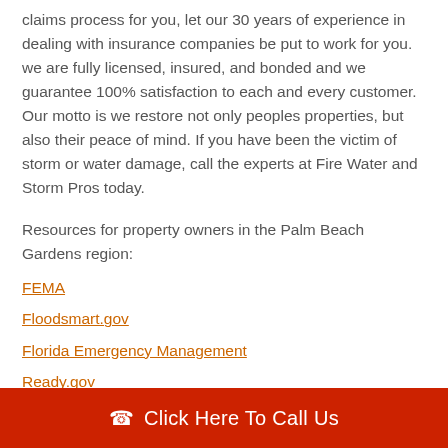claims process for you, let our 30 years of experience in dealing with insurance companies be put to work for you. we are fully licensed, insured, and bonded and we guarantee 100% satisfaction to each and every customer. Our motto is we restore not only peoples properties, but also their peace of mind. If you have been the victim of storm or water damage, call the experts at Fire Water and Storm Pros today.
Resources for property owners in the Palm Beach Gardens region:
FEMA
Floodsmart.gov
Florida Emergency Management
Ready.gov
Click Here To Call Us